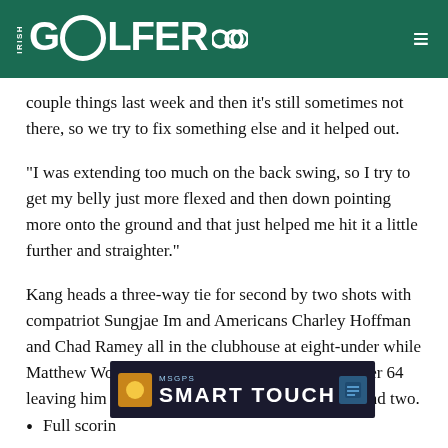IRISH GOLFER
couple things last week and then it’s still sometimes not there, so we try to fix something else and it helped out.
“I was extending too much on the back swing, so I try to get my belly just more flexed and then down pointing more onto the ground and that just helped me hit it a little further and straighter.”
Kang heads a three-way tie for second by two shots with compatriot Sungjae Im and Americans Charley Hoffman and Chad Ramey all in the clubhouse at eight-under while Matthew Wolff enjoyed a good day; his seven-under 64 leaving him in a five-way tie for fifth ahead of round two.
[Figure (screenshot): Advertisement banner for SMART TOUCH by Msgps, dark background with orange icon]
Full scori…